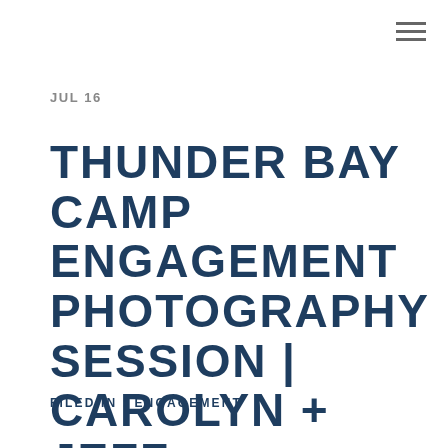≡
JUL 16
THUNDER BAY CAMP ENGAGEMENT PHOTOGRAPHY SESSION | CAROLYN + JEFF
FILED IN : ENGAGEMENT